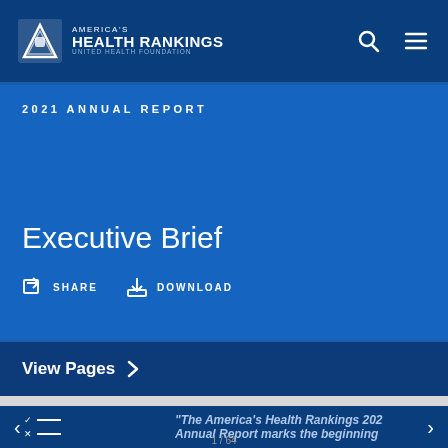AMERICA'S HEALTH RANKINGS UNITED HEALTH FOUNDATION
2021 ANNUAL REPORT
Executive Brief
SHARE   DOWNLOAD
View Pages >
Please take a quick survey.
"The America's Health Rankings 2021 Annual Report marks the beginning
1 / 64